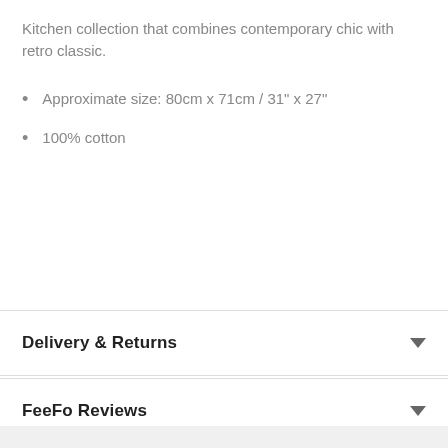Kitchen collection that combines contemporary chic with retro classic.
Approximate size: 80cm x 71cm / 31" x 27"
100% cotton
Delivery & Returns
FeeFo Reviews